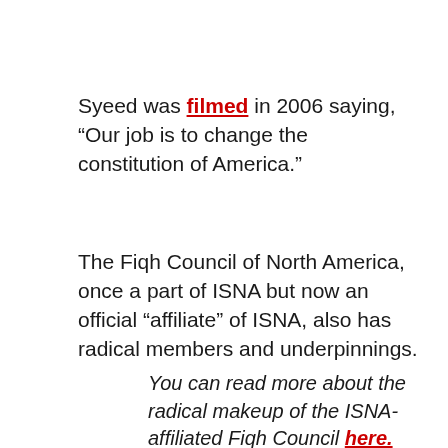Syeed was filmed in 2006 saying, “Our job is to change the constitution of America.”
The Fiqh Council of North America, once a part of ISNA but now an official “affiliate” of ISNA, also has radical members and underpinnings.
You can read more about the radical makeup of the ISNA-affiliated Fiqh Council here.